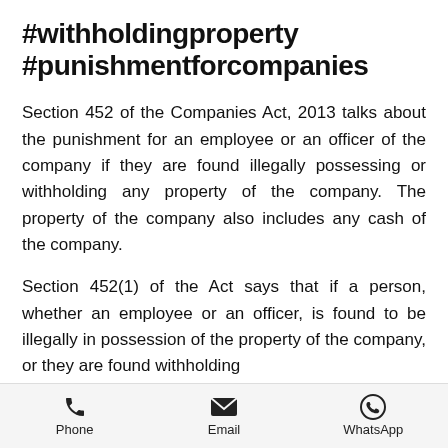#withholdingproperty #punishmentforcompanies
Section 452 of the Companies Act, 2013 talks about the punishment for an employee or an officer of the company if they are found illegally possessing or withholding any property of the company. The property of the company also includes any cash of the company.
Section 452(1) of the Act says that if a person, whether an employee or an officer, is found to be illegally in possession of the property of the company, or they are found withholding
Phone   Email   WhatsApp